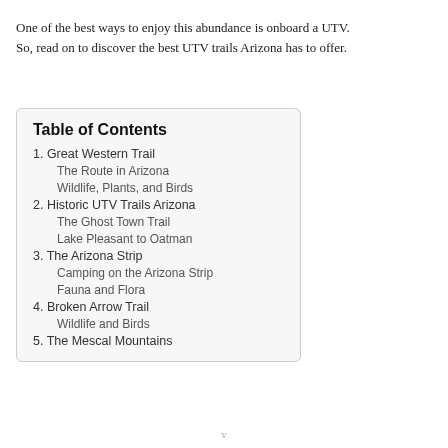One of the best ways to enjoy this abundance is onboard a UTV. So, read on to discover the best UTV trails Arizona has to offer.
Table of Contents
1. Great Western Trail
The Route in Arizona
Wildlife, Plants, and Birds
2. Historic UTV Trails Arizona
The Ghost Town Trail
Lake Pleasant to Oatman
3. The Arizona Strip
Camping on the Arizona Strip
Fauna and Flora
4. Broken Arrow Trail
Wildlife and Birds
5. The Mescal Mountains
v